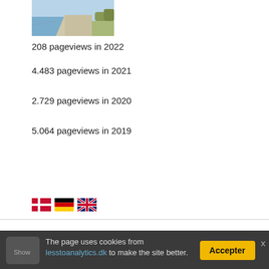[Figure (photo): Outdoor photo showing a gravel/sandy path or track near water, possibly a coastal or lakeside area.]
208 pageviews in 2022
4.483 pageviews in 2021
2.729 pageviews in 2020
5.064 pageviews in 2019
[Figure (illustration): Three flag icons: Danish flag (red with white cross), German flag (black-red-gold horizontal stripes), UK flag (Union Jack).]
Bunkers at the marina, Aarhus
Slightly eerie pipes that acted as protective rooms.
The page uses cookies from lesstoanalytics.dk to make the site better.